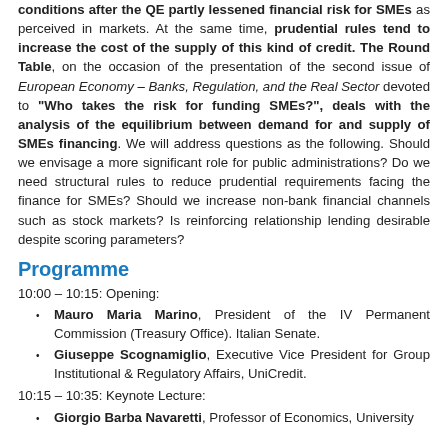conditions after the QE partly lessened financial risk for SMEs as perceived in markets. At the same time, prudential rules tend to increase the cost of the supply of this kind of credit. The Round Table, on the occasion of the presentation of the second issue of European Economy – Banks, Regulation, and the Real Sector devoted to "Who takes the risk for funding SMEs?", deals with the analysis of the equilibrium between demand for and supply of SMEs financing. We will address questions as the following. Should we envisage a more significant role for public administrations? Do we need structural rules to reduce prudential requirements facing the finance for SMEs? Should we increase non-bank financial channels such as stock markets? Is reinforcing relationship lending desirable despite scoring parameters?
Programme
10:00 – 10:15: Opening:
Mauro Maria Marino, President of the IV Permanent Commission (Treasury Office). Italian Senate.
Giuseppe Scognamiglio, Executive Vice President for Group Institutional & Regulatory Affairs, UniCredit.
10:15 – 10:35: Keynote Lecture:
Giorgio Barba Navaretti, Professor of Economics, University